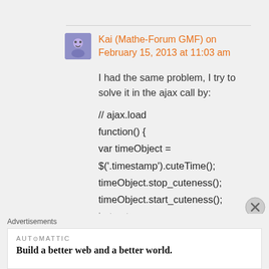Kai (Mathe-Forum GMF) on February 15, 2013 at 11:03 am
I had the same problem, I try to solve it in the ajax call by:
// ajax.load
function() {
var timeObject =
$('.timestamp').cuteTime();
timeObject.stop_cuteness();
timeObject.start_cuteness();
but got:
Advertisements
AUTOMATTIC
Build a better web and a better world.